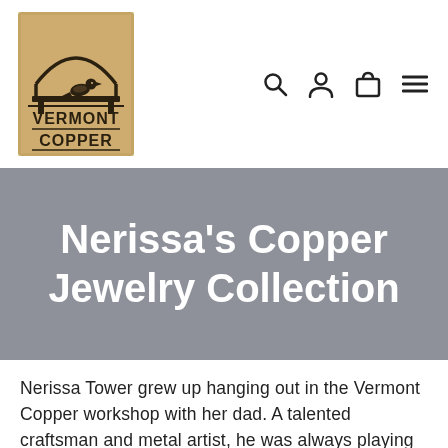[Figure (logo): Vermont Copper logo: a tan/kraft paper background square with a bird perched on a wooden beam under an arch, text 'VERMONT COPPER' in bold block letters with decorative lines]
[Figure (other): Navigation icons: magnifying glass (search), person silhouette (account), shopping bag (cart), and hamburger menu lines]
Nerissa's Copper Jewelry Collection
Nerissa Tower grew up hanging out in the Vermont Copper workshop with her dad. A talented craftsman and metal artist, he was always playing with different creative ideas. She remembers him